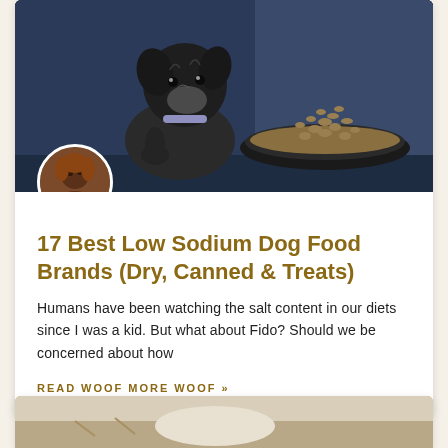[Figure (photo): A black schnauzer dog sitting upright next to a large stainless steel bowl filled with dry dog food kibble, against a dark blue background]
[Figure (photo): Small circular avatar photo of a person, used as author profile image]
17 Best Low Sodium Dog Food Brands (Dry, Canned & Treats)
Humans have been watching the salt content in our diets since I was a kid. But what about Fido? Should we be concerned about how
READ WOOF MORE WOOF »
[Figure (photo): Partial view of a second article card image at the bottom of the page, showing a lighter outdoor scene]